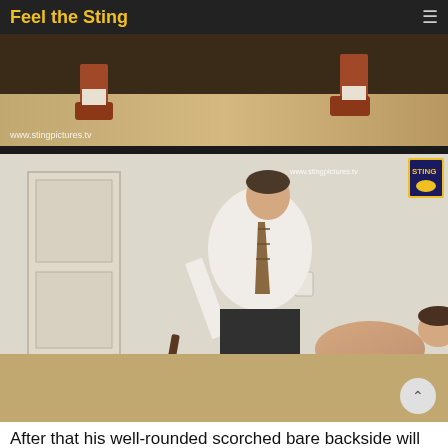Feel the Sting
[Figure (photo): Close-up of feet and lower legs with red shoes and white socks on a wooden floor, watermark www.stingpictures.tv]
[Figure (photo): Man in white shirt and striped tie holding a strap, with a younger person bent over a leather-topped wooden bench in a room, watermark www.stingpictures.tv with logo badge]
After that his well-rounded scorched bare backside will be